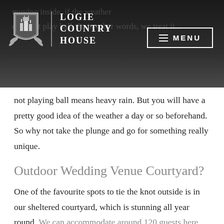Logie Country House
not playing ball means heavy rain. But you will have a pretty good idea of the weather a day or so beforehand. So why not take the plunge and go for something really unique.
Outdoor Wedding Venue Courtyard?
One of the favourite spots to tie the knot outside is in our sheltered courtyard, which is stunning all year round. We can accommodate around 120 guests here. The courtyard is surrounded by flowers and birds and is sheltered from the wind by the house and courtyard